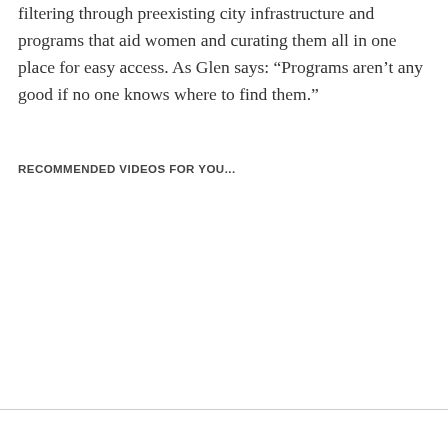filtering through preexisting city infrastructure and programs that aid women and curating them all in one place for easy access. As Glen says: “Programs aren’t any good if no one knows where to find them.”
RECOMMENDED VIDEOS FOR YOU...